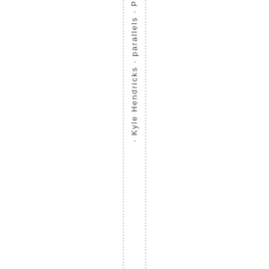· Kyle Hendricks · parallels · P